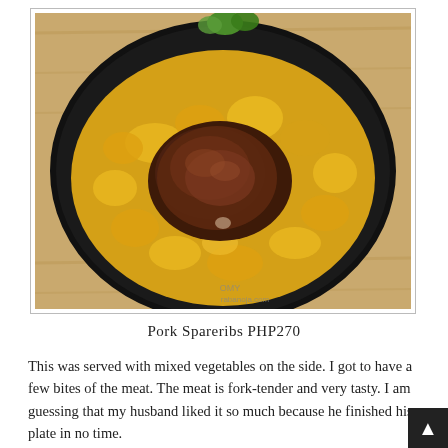[Figure (photo): Food photo of Pork Spareribs served in a black cast iron skillet on a wooden board, with yellow/turmeric fried rice and a large braised pork spare rib with dark sauce in the center. Green vegetables visible at the top. Watermark reads 'OMY rabanoja.com'.]
Pork Spareribs PHP270
This was served with mixed vegetables on the side. I got to have a few bites of the meat. The meat is fork-tender and very tasty. I am guessing that my husband liked it so much because he finished his plate in no time.
I was initially thinking of getting Love Shack's Eggs Benedict Surf & Turf until my love for burgers took over me. Fortunately, Jeff had this